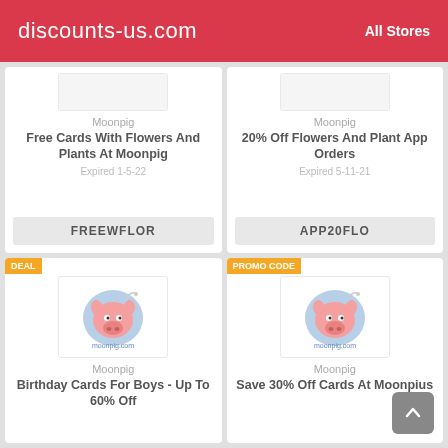discounts-us.com   All Stores
[Figure (screenshot): Moonpig logo placeholder (partial, top of card 1)]
Moonpig
Free Cards With Flowers And Plants At Moonpig
Expired 1-5-22
FREEWFLOR
[Figure (screenshot): Moonpig logo placeholder (partial, top of card 2)]
Moonpig
20% Off Flowers And Plant App Orders
Expired 5-11-21
APP20FLO
DEAL
[Figure (logo): Moonpig pig logo with moonpig.com text, card 3]
Moonpig
Birthday Cards For Boys - Up To 60% Off
PROMO CODE
[Figure (logo): Moonpig pig logo with moonpig.com text, card 4]
Moonpig
Save 30% Off Cards At Moonpius